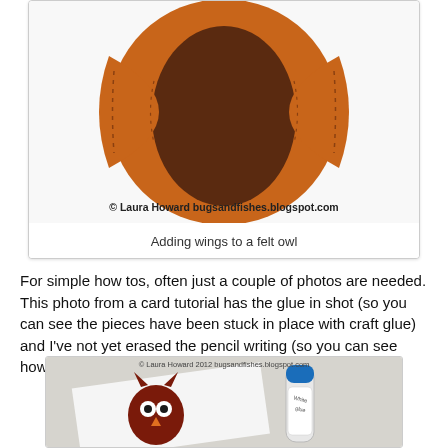[Figure (photo): Close-up photo of a felt owl body showing wings being added. Orange/tan circular felt piece with dark brown center panel, orange wings stitched on each side with visible hand stitching. Watermark reads '© Laura Howard bugsandfishes.blogspot.com'.]
Adding wings to a felt owl
For simple how tos, often just a couple of photos are needed. This photo from a card tutorial has the glue in shot (so you can see the pieces have been stuck in place with craft glue) and I've not yet erased the pencil writing (so you can see how it's a good idea to write the text in pencil first).
[Figure (photo): Photo of a small felt owl card with a white glue bottle. The owl is dark red/maroon with eyes and orange beak, sitting on a white card. A tube of white glue is visible to the right. Watermark reads '© Laura Howard 2012 bugsandfishes.blogspot.com'.]